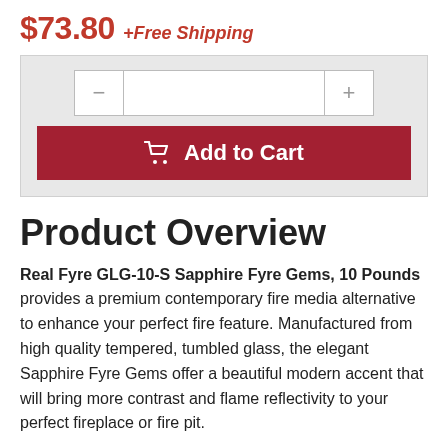$73.80 + Free Shipping
[Figure (other): Add to Cart widget with quantity selector (minus button, input field, plus button) and a red Add to Cart button with shopping cart icon]
Product Overview
Real Fyre GLG-10-S Sapphire Fyre Gems, 10 Pounds provides a premium contemporary fire media alternative to enhance your perfect fire feature. Manufactured from high quality tempered, tumbled glass, the elegant Sapphire Fyre Gems offer a beautiful modern accent that will bring more contrast and flame reflectivity to your perfect fireplace or fire pit.